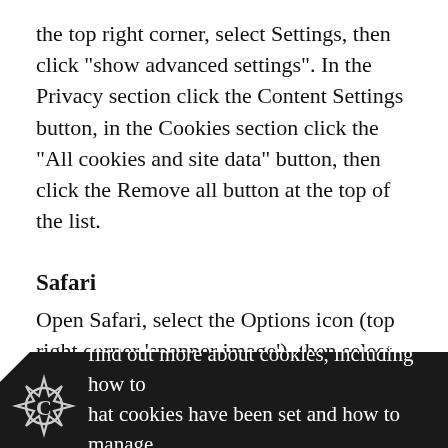the top right corner, select Settings, then click "show advanced settings". In the Privacy section click the Content Settings button, in the Cookies section click the "All cookies and site data" button, then click the Remove all button at the top of the list.
Safari
Open Safari, select the Options icon (top right corner 'spanner image'), then select Preferences, click the Privacy tab, select the Details button and then click Remove all.
find out more about cookies, including how to hat cookies have been set and how to manage